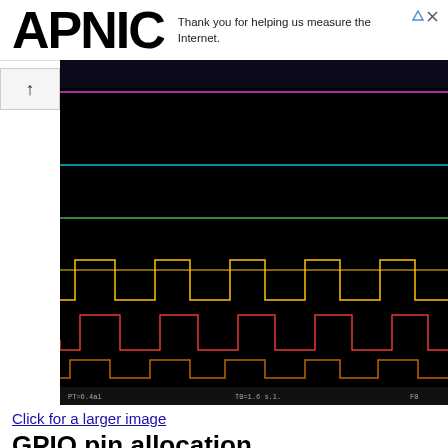Thank you for helping us measure the Internet.
[Figure (engineering-diagram): Oscilloscope screenshot showing digital waveforms on a black background. Multiple colored horizontal signal lines and square wave patterns: a magenta/pink horizontal line near the top, a cyan horizontal line in the middle-upper area, a green horizontal line, a yellow square wave signal, a red square wave signal, and a dark orange/brown square wave signal at the bottom. The signals appear to be digital clock or data signals captured on an oscilloscope. A status bar runs along the bottom of the display.]
Click for a larger image
GPIO pin allocation